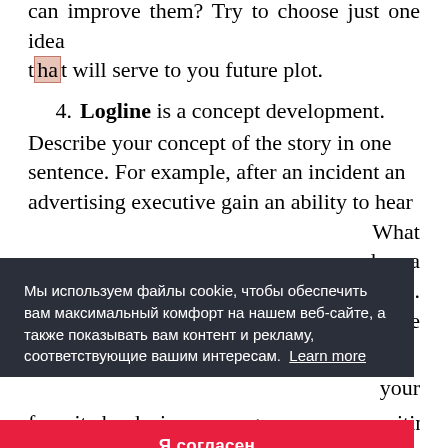selected. Which ones are the best? How you can improve them? Try to choose just one idea that will serve to you future plot.
4. Logline is a concept development. Describe your concept of the story in one sentence. For example, after an incident an advertising executive gain an ability to hear What drama e. g title your favorite books in a same genre you are writing
Мы используем файлы cookie, чтобы обеспечить вам максимальный комфорт на нашем веб-сайте, а также показывать вам контент и рекламу, соответствующие вашим интересам. Learn more
Я согласен